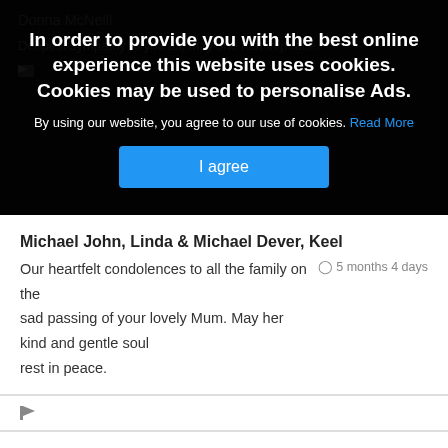In order to provide you with the best online experience this website uses cookies. Cookies may be used to personalise Ads.
By using our website, you agree to our use of cookies. Read More
I agree
Donna McNeill
Deepest sympathy to you all, may she rest in peace.
Michael John, Linda & Michael Dever, Keel
Our heartfelt condolences to all the family on the sad passing of your lovely Mum. May her kind and gentle soul rest in peace.
5 months 4 days
Josephine McHale
5 months 4 days